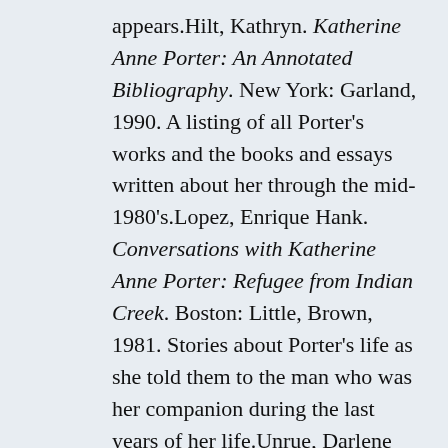appears.Hilt, Kathryn. Katherine Anne Porter: An Annotated Bibliography. New York: Garland, 1990. A listing of all Porter's works and the books and essays written about her through the mid-1980's.Lopez, Enrique Hank. Conversations with Katherine Anne Porter: Refugee from Indian Creek. Boston: Little, Brown, 1981. Stories about Porter's life as she told them to the man who was her companion during the last years of her life.Unrue, Darlene Harbour. Truth and Vision in Katherine Anne Porter's Fiction. Athens: University of Georgia Press, 1985. Lists criticial sources. Studies the themes of Porter's fiction, asserting that her works have a thematic unity built around Porter's understanding of truth.Warren, Robert Penn, ed. Katherine Anne